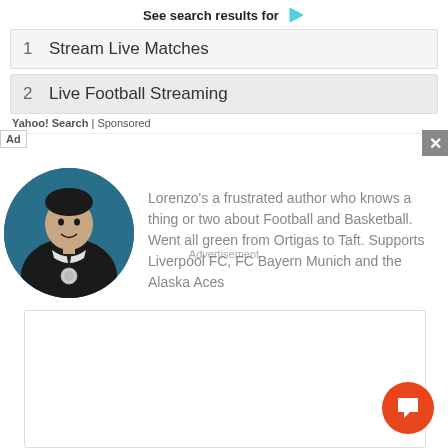See search results for
1   Stream Live Matches
2   Live Football Streaming
Yahoo! Search | Sponsored
Advertisement
Lorenzo's a frustrated author who knows a thing or two about Football and Basketball. Went all green from Ortigas to Taft. Supports Liverpool FC, FC Bayern Munich and the Alaska Aces
[Figure (photo): Circular profile photo of a young man in academic graduation attire (black gown, white collar, dark tie) with a medal, against a teal/dark background.]